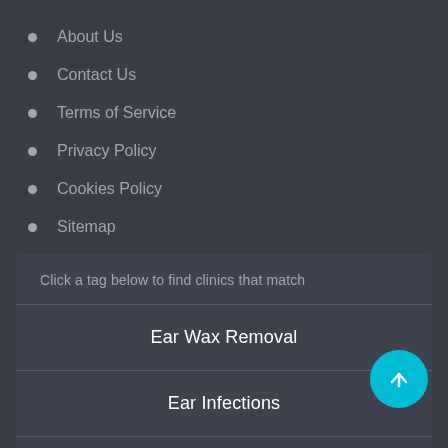About Us
Contact Us
Terms of Service
Privacy Policy
Cookies Policy
Sitemap
Click a tag below to find clinics that match
Ear Wax Removal
Ear Infections
Balance Disorders